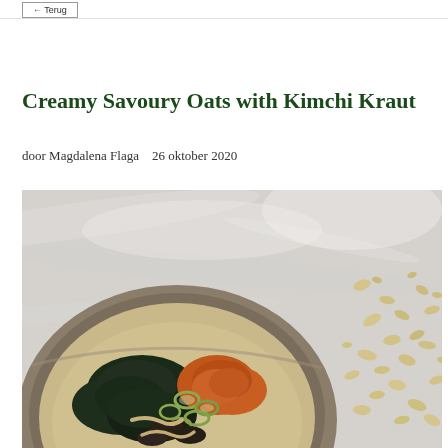Creamy Savoury Oats with Kimchi Kraut
door Magdalena Flaga   26 oktober 2020
[Figure (photo): Overhead photo of a bowl of creamy savoury oats topped with kimchi kraut, dark leafy greens, sliced scallions, and orange kimchi, placed on a marble surface with rolled oats scattered on the right side.]